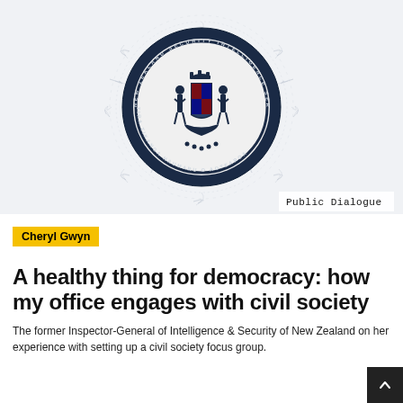[Figure (illustration): Artistic illustration of the New Zealand Security Intelligence Service (NZSIS) coat of arms / official seal rendered in blue ink with scrawled/scratched line art radiating outward, on a white fabric-like background. The circular seal shows the NZ coat of arms with crown, shield, and supporters. A white label in the bottom-right corner reads 'Public Dialogue' in monospace font.]
Cheryl Gwyn
A healthy thing for democracy: how my office engages with civil society
The former Inspector-General of Intelligence & Security of New Zealand on her experience with setting up a civil society focus group.